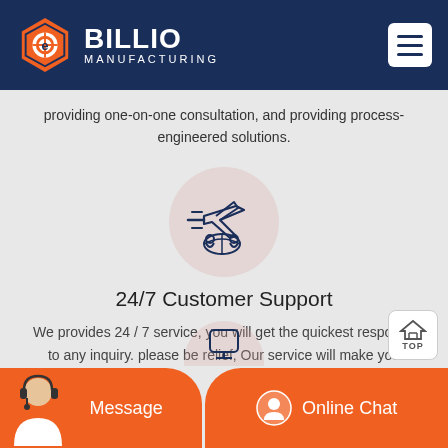BILLIO MANUFACTURING
providing one-on-one consultation, and providing process-engineered solutions.
[Figure (illustration): Icon of an airplane with speed lines over a globe, inside a pink circle background, drawn in navy blue outline style]
24/7 Customer Support
We provides 24 / 7 service, you will get the quickest response to any inquiry. please be relief, Our service will make you satisfied.
[Figure (illustration): Partial view of another service icon at the bottom of the page inside a pink circle]
Message | Online Chat